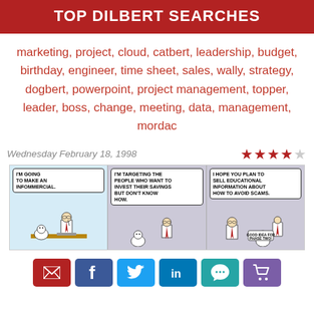TOP DILBERT SEARCHES
marketing, project, cloud, catbert, leadership, budget, birthday, engineer, time sheet, sales, wally, strategy, dogbert, powerpoint, project management, topper, leader, boss, change, meeting, data, management, mordac
Wednesday February 18, 1998
[Figure (illustration): Dilbert comic strip from Wednesday February 18, 1998 with 3 panels. Panel 1: Dogbert says 'I'm going to make an infommercial.' Panel 2: Character says 'I'm targeting the people who want to invest their savings but don't know how.' Panel 3: Boss says 'I hope you plan to sell educational information about how to avoid scams.' Dilbert replies 'Good idea for phase two!']
Email, Facebook, Twitter, LinkedIn, Comment, Cart social sharing buttons